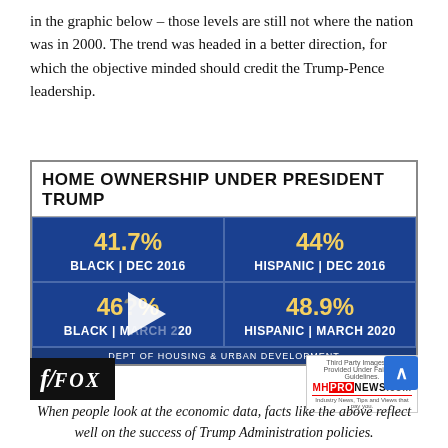in the graphic below – those levels are still not where the nation was in 2000. The trend was headed in a better direction, for which the objective minded should credit the Trump-Pence leadership.
[Figure (infographic): Fox News / MHProNews graphic showing Home Ownership Under President Trump: Black 41.7% Dec 2016, Hispanic 44% Dec 2016, Black 46.?% March 2020 (partially obscured by play button), Hispanic 48.9% March 2020. Source: Dept of Housing & Urban Development. Fox logo and MHProNews badge visible.]
When people look at the economic data, facts like the above reflect well on the success of Trump Administration policies.